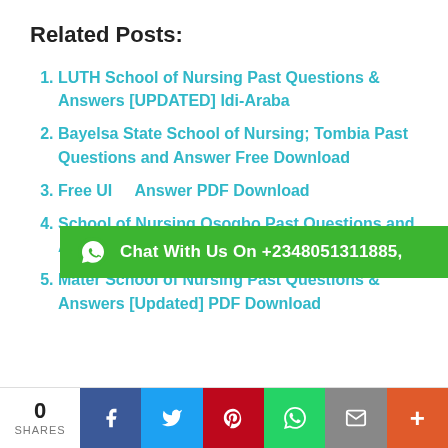Related Posts:
LUTH School of Nursing Past Questions & Answers [UPDATED] Idi-Araba
Bayelsa State School of Nursing; Tombia Past Questions and Answer Free Download
Free UI... Answer PDF Download
School of Nursing Osogbo Past Questions and Answers PDF Download
Mater School of Nursing Past Questions & Answers [Updated] PDF Download
[Figure (infographic): WhatsApp chat banner overlay: green background with WhatsApp icon and text 'Chat With Us On +2348051311885,']
0 SHARES | Facebook | Twitter | Pinterest | WhatsApp | Email | More